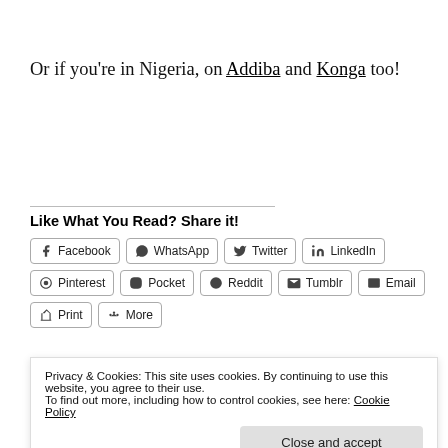Or if you're in Nigeria, on Addiba and Konga too!
Like What You Read? Share it!
Facebook WhatsApp Twitter LinkedIn Pinterest Pocket Reddit Tumblr Email Print More
Privacy & Cookies: This site uses cookies. By continuing to use this website, you agree to their use. To find out more, including how to control cookies, see here: Cookie Policy
Close and accept
Related